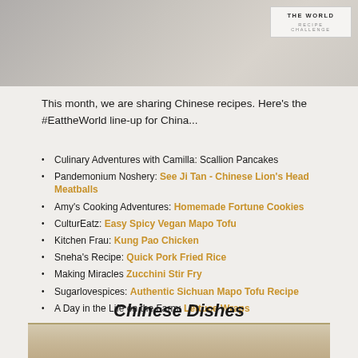[Figure (photo): Top portion of a person and a badge reading THE WORLD RECIPE CHALLENGE]
This month, we are sharing Chinese recipes. Here's the #EattheWorld line-up for China...
Culinary Adventures with Camilla: Scallion Pancakes
Pandemonium Noshery: See Ji Tan - Chinese Lion's Head Meatballs
Amy's Cooking Adventures: Homemade Fortune Cookies
CulturEatz: Easy Spicy Vegan Mapo Tofu
Kitchen Frau: Kung Pao Chicken
Sneha's Recipe: Quick Pork Fried Rice
Making Miracles Zucchini Stir Fry
Sugarlovespices: Authentic Sichuan Mapo Tofu Recipe
A Day in the Life on the Farm: Lettuce Wraps
Chinese Dishes
[Figure (photo): Bottom portion showing a food dish, Chinese Dishes section]